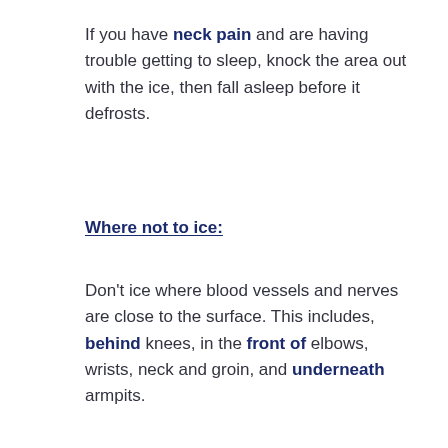If you have neck pain and are having trouble getting to sleep, knock the area out with the ice, then fall asleep before it defrosts.
Where not to ice:
Don't ice where blood vessels and nerves are close to the surface. This includes, behind knees, in the front of elbows, wrists, neck and groin, and underneath armpits.
When to use Heat
Heat is useful from the end of day 2 when it will relax muscle spasm and bring blood into the area,